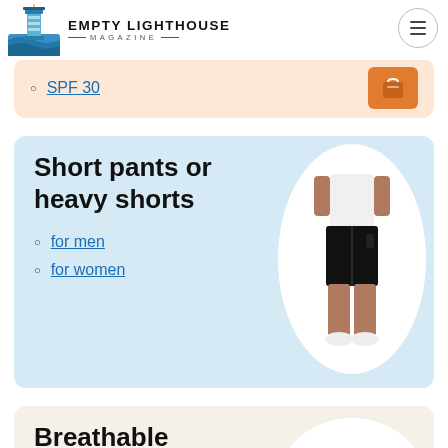Empty Lighthouse Magazine
SPF 30
Short pants or heavy shorts
for men
for women
Breathable footwear or sandals
for men